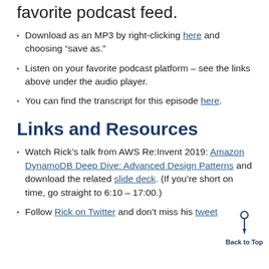favorite podcast feed.
Download as an MP3 by right-clicking here and choosing “save as.”
Listen on your favorite podcast platform – see the links above under the audio player.
You can find the transcript for this episode here.
Links and Resources
Watch Rick’s talk from AWS Re:Invent 2019: Amazon DynamoDB Deep Dive: Advanced Design Patterns and download the related slide deck. (If you’re short on time, go straight to 6:10 – 17:00.)
Follow Rick on Twitter and don’t miss his tweet